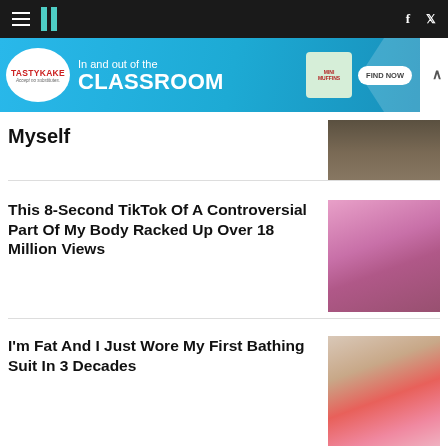HuffPost navigation bar with hamburger menu, logo, Facebook and Twitter icons
[Figure (infographic): Tastykake advertisement banner: In and out of the CLASSROOM, FIND NOW button, mini muffins image]
Myself
This 8-Second TikTok Of A Controversial Part Of My Body Racked Up Over 18 Million Views
I'm Fat And I Just Wore My First Bathing Suit In 3 Decades